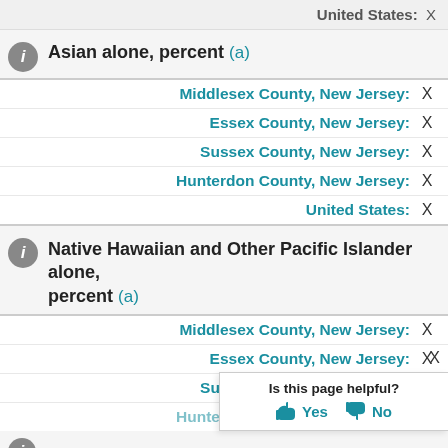United States: X
Asian alone, percent (a)
Middlesex County, New Jersey: X
Essex County, New Jersey: X
Sussex County, New Jersey: X
Hunterdon County, New Jersey: X
United States: X
Native Hawaiian and Other Pacific Islander alone, percent (a)
Middlesex County, New Jersey: X
Essex County, New Jersey: X
Sussex County, New Jersey: X
Hunterdon County, New Jersey: X
X
Is this page helpful? Yes No